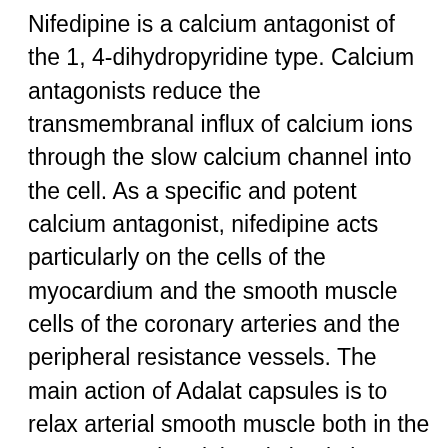Nifedipine is a calcium antagonist of the 1, 4-dihydropyridine type. Calcium antagonists reduce the transmembranal influx of calcium ions through the slow calcium channel into the cell. As a specific and potent calcium antagonist, nifedipine acts particularly on the cells of the myocardium and the smooth muscle cells of the coronary arteries and the peripheral resistance vessels. The main action of Adalat capsules is to relax arterial smooth muscle both in the coronary and peripheral circulation. In angina pectoris, Adalat capsules relax peripheral arteries so reducing the load on the left ventricle. Additionally, Adalat capsules dilate submaximally both clear and pre-stenotic coronary arteries, and stenotic and post-stenotic coronary arteries, thus